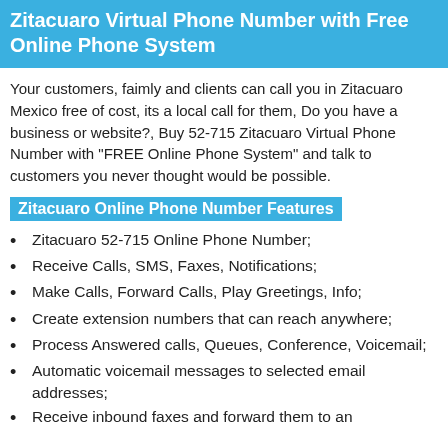Zitacuaro Virtual Phone Number with Free Online Phone System
Your customers, faimly and clients can call you in Zitacuaro Mexico free of cost, its a local call for them, Do you have a business or website?, Buy 52-715 Zitacuaro Virtual Phone Number with "FREE Online Phone System" and talk to customers you never thought would be possible.
Zitacuaro Online Phone Number Features
Zitacuaro 52-715 Online Phone Number;
Receive Calls, SMS, Faxes, Notifications;
Make Calls, Forward Calls, Play Greetings, Info;
Create extension numbers that can reach anywhere;
Process Answered calls, Queues, Conference, Voicemail;
Automatic voicemail messages to selected email addresses;
Receive inbound faxes and forward them to an